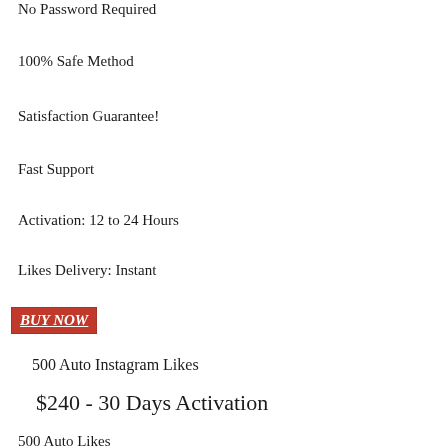No Password Required
100% Safe Method
Satisfaction Guarantee!
Fast Support
Activation: 12 to 24 Hours
Likes Delivery: Instant
BUY NOW
500 Auto Instagram Likes
$240 - 30 Days Activation
500 Auto Likes